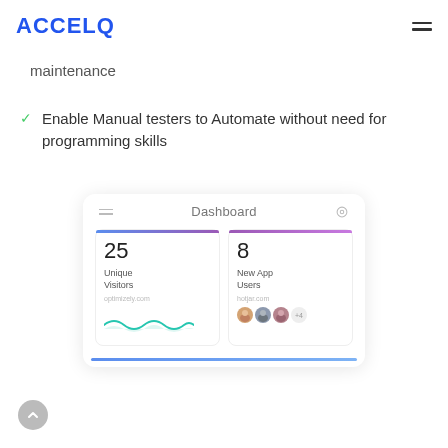ACCELQ
maintenance
Enable Manual testers to Automate without need for programming skills
[Figure (screenshot): Dashboard UI screenshot showing two metric tiles: '25 Unique Visitors' from optimizely.com with a teal wave chart, and '8 New App Users' from hotjar.com with avatar icons (+4). Header shows 'Dashboard' text with hamburger and settings icons. Bottom shows a blue progress bar.]